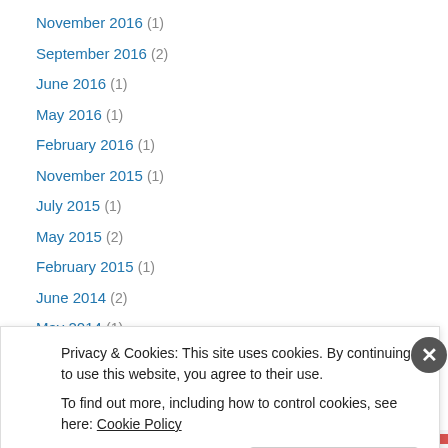November 2016 (1)
September 2016 (2)
June 2016 (1)
May 2016 (1)
February 2016 (1)
November 2015 (1)
July 2015 (1)
May 2015 (2)
February 2015 (1)
June 2014 (2)
May 2014 (1)
April 2014 (1)
February 2014 (1)
Privacy & Cookies: This site uses cookies. By continuing to use this website, you agree to their use. To find out more, including how to control cookies, see here: Cookie Policy